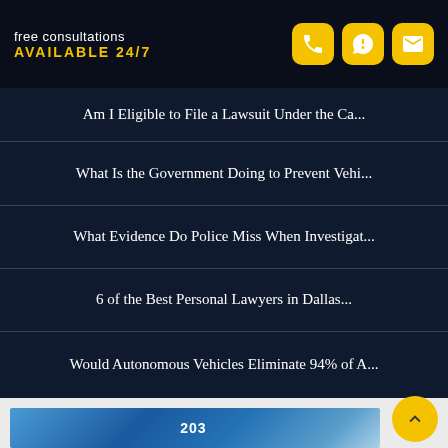free consultations
AVAILABLE 24/7
Am I Eligible to File a Lawsuit Under the Ca...
What Is the Government Doing to Prevent Vehi...
What Evidence Do Police Miss When Investigat...
6 of the Best Personal Lawyers in Dallas...
Would Autonomous Vehicles Eliminate 94% of A...
[Figure (photo): Bottom portion of a racing car with the number 203 visible, blue/white color scheme with sponsor markings]